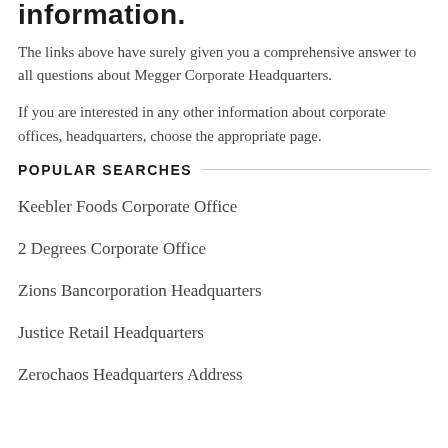information.
The links above have surely given you a comprehensive answer to all questions about Megger Corporate Headquarters.
If you are interested in any other information about corporate offices, headquarters, choose the appropriate page.
POPULAR SEARCHES
Keebler Foods Corporate Office
2 Degrees Corporate Office
Zions Bancorporation Headquarters
Justice Retail Headquarters
Zerochaos Headquarters Address